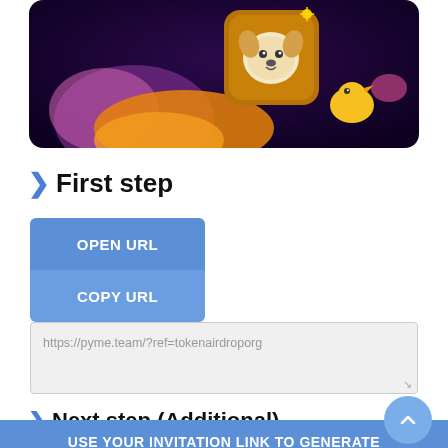[Figure (illustration): Dark purple background with animated characters: a dog face on a brown card/tile in upper center, an orange/yellow hand reaching from left, and a small yellow bird-like figure on the right.]
> First step
OPEN URL
COPY URL
https://pyme.team/?ref=tokenairdroporg
> Next step (Additional)
USE YOUR INVITATION LINK TO GENERATE